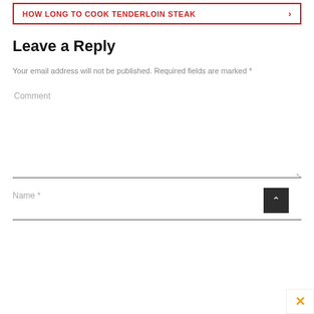HOW LONG TO COOK TENDERLOIN STEAK ›
Leave a Reply
Your email address will not be published. Required fields are marked *
Comment
Name *